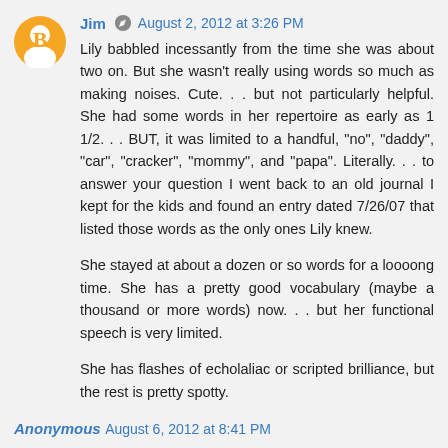Jim · August 2, 2012 at 3:26 PM
Lily babbled incessantly from the time she was about two on. But she wasn't really using words so much as making noises. Cute. . . but not particularly helpful. She had some words in her repertoire as early as 1 1/2. . . BUT, it was limited to a handful, "no", "daddy", "car", "cracker", "mommy", and "papa". Literally. . . to answer your question I went back to an old journal I kept for the kids and found an entry dated 7/26/07 that listed those words as the only ones Lily knew.
She stayed at about a dozen or so words for a loooong time. She has a pretty good vocabulary (maybe a thousand or more words) now. . . but her functional speech is very limited.
She has flashes of echolaliac or scripted brilliance, but the rest is pretty spotty.
Anonymous · August 6, 2012 at 8:41 PM